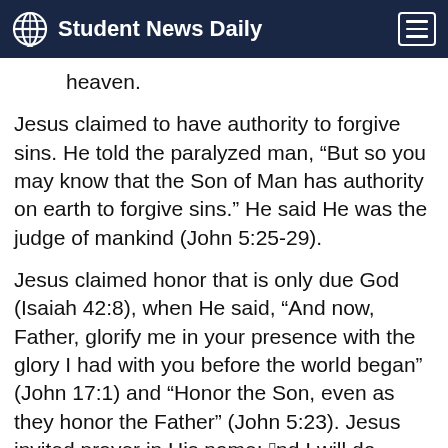Student News Daily
heaven.
Jesus claimed to have authority to forgive sins. He told the paralyzed man, “But so you may know that the Son of Man has authority on earth to forgive sins.” He said He was the judge of mankind (John 5:25-29).
Jesus claimed honor that is only due God (Isaiah 42:8), when He said, “And now, Father, glorify me in your presence with the glory I had with you before the world began” (John 17:1) and “Honor the Son, even as they honor the Father” (John 5:23). Jesus invited prayer in His name: “And I will do whatever you ask in my name” (John 14:13). He accepted worship (Matthew 8:2, 14:33, 15:25, 20:20, 28:17),